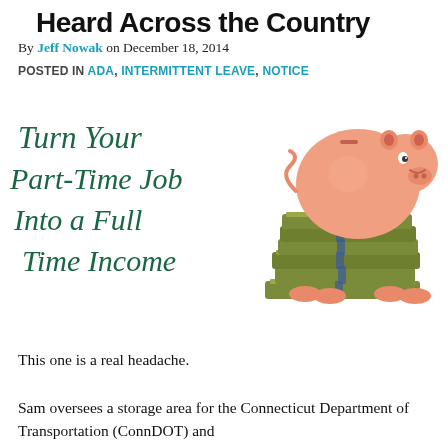Heard Across the Country
By Jeff Nowak on December 18, 2014
POSTED IN ADA, INTERMITTENT LEAVE, NOTICE
[Figure (illustration): Promotional image showing a pink piggy bank sitting on a stack of money bundles, with italic green text reading 'Turn Your Part-Time Job Into a Full Time Income']
This one is a real headache.
Sam oversees a storage area for the Connecticut Department of Transportation (ConnDOT) and